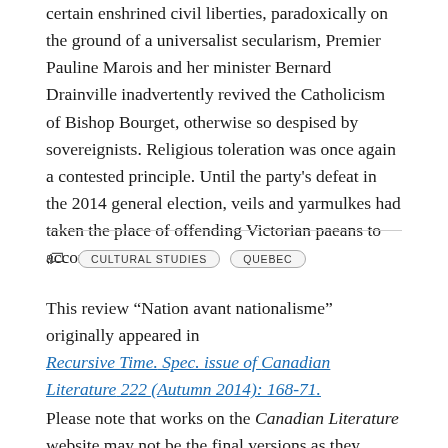certain enshrined civil liberties, paradoxically on the ground of a universalist secularism, Premier Pauline Marois and her minister Bernard Drainville inadvertently revived the Catholicism of Bishop Bourget, otherwise so despised by sovereignists. Religious toleration was once again a contested principle. Until the party's defeat in the 2014 general election, veils and yarmulkes had taken the place of offending Victorian paeans to accommodation.
CULTURAL STUDIES
QUEBEC
This review "Nation avant nationalisme" originally appeared in Recursive Time. Spec. issue of Canadian Literature 222 (Autumn 2014): 168-71.
Please note that works on the Canadian Literature website may not be the final versions as they appear in the journal, as